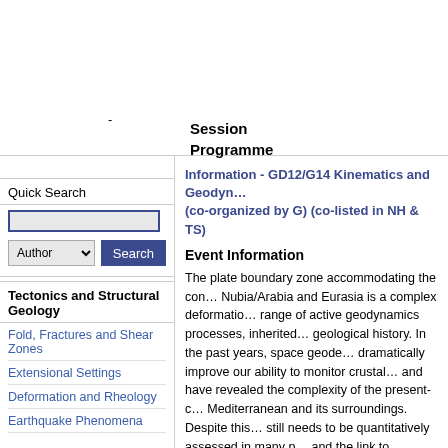-
Session
Programme
Quick Search
Author  Search
Tectonics and Structural Geology
Fold, Fractures and Shear Zones
Extensional Settings
Deformation and Rheology
Earthquake Phenomena
Information - GD12/G14 Kinematics and Geodynamics... (co-organized by G) (co-listed in NH & TS)
Event Information
The plate boundary zone accommodating the convergence between Nubia/Arabia and Eurasia is a complex deformation zone with a wide range of active geodynamics processes, inherited from a long geological history. In the past years, space geodesy data have dramatically improve our ability to monitor crustal deformation and have revealed the complexity of the present-day kinematics in the Mediterranean and its surroundings. Despite this progress, kinematics still needs to be quantitatively assessed in many places of this area and the link to dynamics still remains to be understood. We call for contributions on new observations of crustal motions along the Mediterranean area. We invite papers concerned with... interpretation of observed velocity and strain...